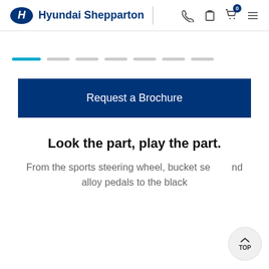Hyundai Shepparton
[Figure (other): Carousel progress indicator with 7 dots, first dot active in cyan/blue, remaining 6 in grey]
Request a Brochure
Look the part, play the part.
From the sports steering wheel, bucket seats and alloy pedals to the black interior with a few more hidden surprises throughout.